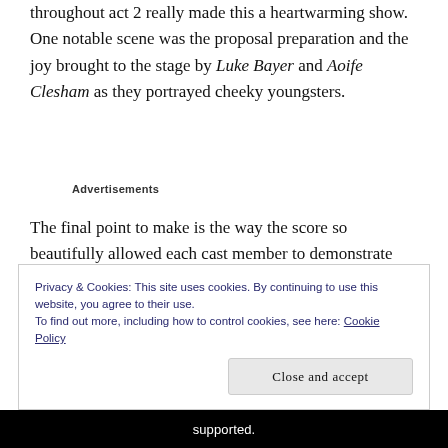throughout act 2 really made this a heartwarming show. One notable scene was the proposal preparation and the joy brought to the stage by Luke Bayer and Aoife Clesham as they portrayed cheeky youngsters.
Advertisements
The final point to make is the way the score so beautifully allowed each cast member to demonstrate their vocal range individually but also to provide
Privacy & Cookies: This site uses cookies. By continuing to use this website, you agree to their use.
To find out more, including how to control cookies, see here: Cookie Policy
Close and accept
supported.